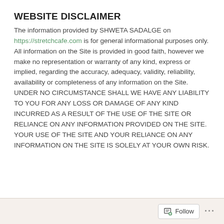WEBSITE DISCLAIMER
The information provided by SHWETA SADALGE on https://stretchcafe.com is for general informational purposes only. All information on the Site is provided in good faith, however we make no representation or warranty of any kind, express or implied, regarding the accuracy, adequacy, validity, reliability, availability or completeness of any information on the Site. UNDER NO CIRCUMSTANCE SHALL WE HAVE ANY LIABILITY TO YOU FOR ANY LOSS OR DAMAGE OF ANY KIND INCURRED AS A RESULT OF THE USE OF THE SITE OR RELIANCE ON ANY INFORMATION PROVIDED ON THE SITE. YOUR USE OF THE SITE AND YOUR RELIANCE ON ANY INFORMATION ON THE SITE IS SOLELY AT YOUR OWN RISK.
Follow